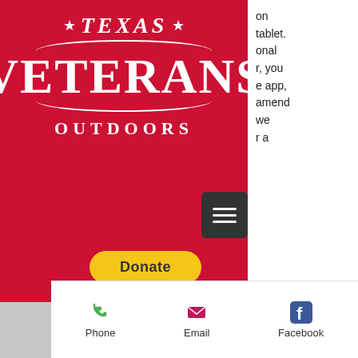[Figure (logo): Texas Veterans Outdoors logo on red background with white serif text, stars, and curved lines. Includes a hamburger menu button and a yellow Donate button.]
on tablet. onal r, you e app, amend we r a
[Figure (logo): Facebook logo icon in blue on gray background]
[Figure (screenshot): Mobile app bottom navigation bar with Phone (green phone icon), Email (pink envelope icon), and Facebook (blue Facebook icon) options.]